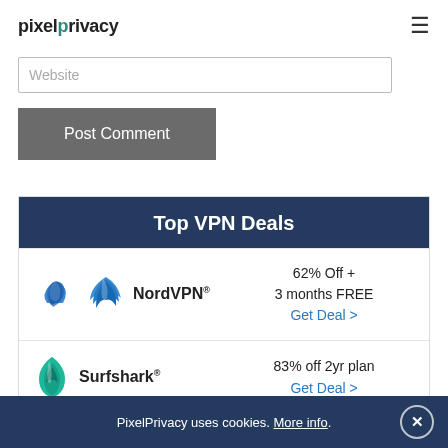pixelprivacy
Website
Post Comment
Top VPN Deals
NordVPN® — 62% Off + 3 months FREE Get Deal >
Surfshark® — 83% off 2yr plan Get Deal >
PixelPrivacy uses cookies. More info.